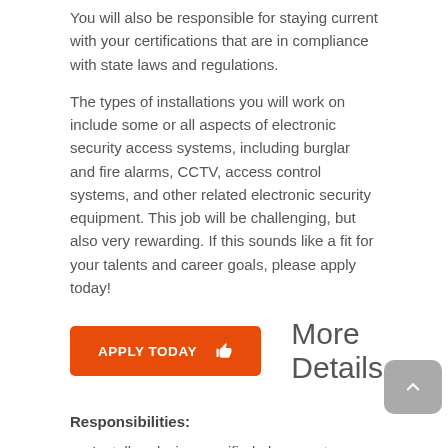You will also be responsible for staying current with your certifications that are in compliance with state laws and regulations.
The types of installations you will work on include some or all aspects of electronic security access systems, including burglar and fire alarms, CCTV, access control systems, and other related electronic security equipment. This job will be challenging, but also very rewarding. If this sounds like a fit for your talents and career goals, please apply today!
[Figure (other): Orange button labeled APPLY TODAY with thumbs up icon]
More Details
Responsibilities:
Install and wire specified alarm system devices.
Pull cable and hang devices.
Test and verify that the alarm system devices...